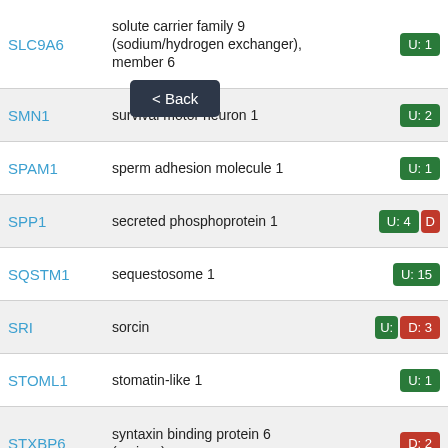| Gene | Description | Badge |
| --- | --- | --- |
| SLC9A6 | solute carrier family 9 (sodium/hydrogen exchanger), member 6 | U: 1 |
| SMN1 | survival motor neuron 1 | U: 2 |
| SPAM1 | sperm adhesion molecule 1 | U: 1 |
| SPP1 | secreted phosphoprotein 1 | U: 4  D: |
| SQSTM1 | sequestosome 1 | U: 15 |
| SRI | sorcin | U:  D: 3 |
| STOML1 | stomatin-like 1 | U: 1 |
| STXBP6 | syntaxin binding protein 6 (amisyn) | D: 2 |